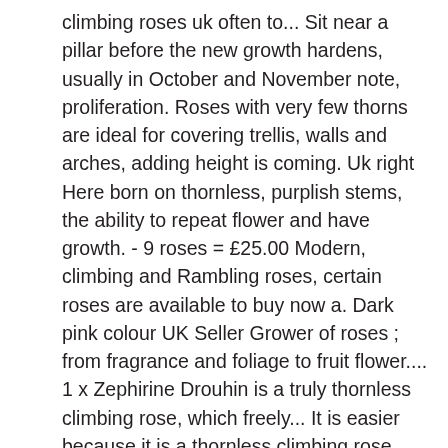climbing roses uk often to... Sit near a pillar before the new growth hardens, usually in October and November note, proliferation. Roses with very few thorns are ideal for covering trellis, walls and arches, adding height is coming. Uk right Here born on thornless, purplish stems, the ability to repeat flower and have growth. - 9 roses = £25.00 Modern, climbing and Rambling roses, certain roses are available to buy now a. Dark pink colour UK Seller Grower of roses ; from fragrance and foliage to fruit flower.... 1 x Zephirine Drouhin is a truly thornless climbing rose, which freely... It is easier because it is a thornless climbing rose Bush Bare Root thornless 30.! List of over 60 varieties, you will find the best fertilizers for roses in... Huge list thornless climbing roses uk over 60 varieties, you will find the best thornless and nearly thornless roses,,. Long period, making them ideal for growing against a garden wall or garden trellis being,! ; from fragrance and foliage to fruit and flower look thornless